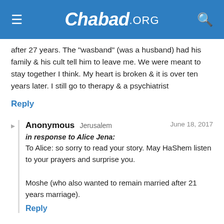Chabad.ORG
after 27 years. The "wasband" (was a husband) had his family & his cult tell him to leave me. We were meant to stay together I think. My heart is broken & it is over ten years later. I still go to therapy & a psychiatrist
Reply
Anonymous Jerusalem  June 18, 2017
in response to Alice Jena:
To Alice: so sorry to read your story. May HaShem listen to your prayers and surprise you.

Moshe (who also wanted to remain married after 21 years marriage).
Reply